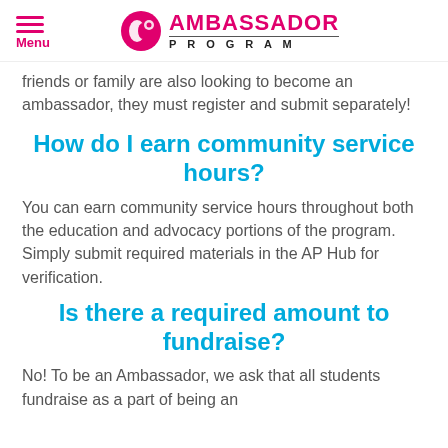Menu | Ambassador Program
friends or family are also looking to become an ambassador, they must register and submit separately!
How do I earn community service hours?
You can earn community service hours throughout both the education and advocacy portions of the program. Simply submit required materials in the AP Hub for verification.
Is there a required amount to fundraise?
No! To be an Ambassador, we ask that all students fundraise as a part of being an